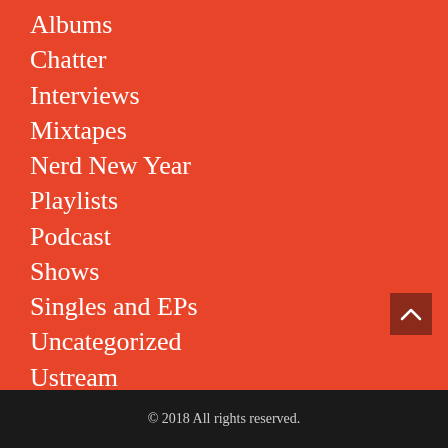Albums
Chatter
Interviews
Mixtapes
Nerd New Year
Playlists
Podcast
Shows
Singles and EPs
Uncategorized
Ustream
Video
© 2018 All rights reserved.